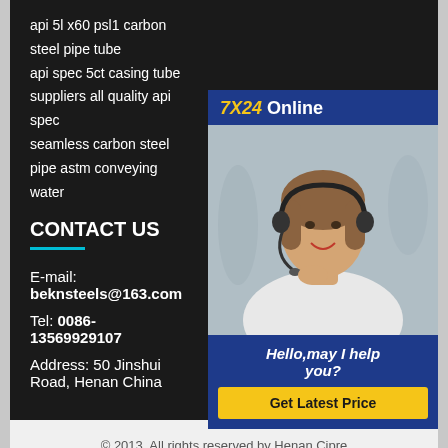api 5l x60 psl1 carbon steel pipe tube
api spec 5ct casing tube suppliers all quality api spec
seamless carbon steel pipe astm conveying water
CONTACT US
E-mail: beknsteels@163.com
Tel: 0086-13569929107
Address: 50 Jinshui Road, Henan China
[Figure (photo): Customer service representative wearing headset, smiling, with 7X24 Online badge and Hello, may I help you? message and Get Latest Price button]
© 2013. All rights reserved by Henan Cipre Steel Pipes Co., Ltd.